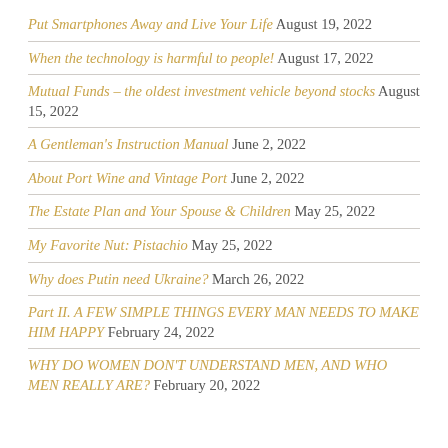Put Smartphones Away and Live Your Life August 19, 2022
When the technology is harmful to people! August 17, 2022
Mutual Funds – the oldest investment vehicle beyond stocks August 15, 2022
A Gentleman's Instruction Manual June 2, 2022
About Port Wine and Vintage Port June 2, 2022
The Estate Plan and Your Spouse & Children May 25, 2022
My Favorite Nut: Pistachio May 25, 2022
Why does Putin need Ukraine? March 26, 2022
Part II. A FEW SIMPLE THINGS EVERY MAN NEEDS TO MAKE HIM HAPPY February 24, 2022
WHY DO WOMEN DON'T UNDERSTAND MEN, AND WHO MEN REALLY ARE? February 20, 2022